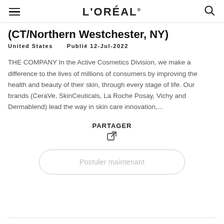L'ORÉAL
(CT/Northern Westchester, NY)
United States    Publié 12-Jul-2022
THE COMPANY In the Active Cosmetics Division, we make a difference to the lives of millions of consumers by improving the health and beauty of their skin, through every stage of life. Our brands (CeraVe, SkinCeuticals, La Roche Posay, Vichy and Dermablend) lead the way in skin care innovation,...
PARTAGER
Postuler maintenant